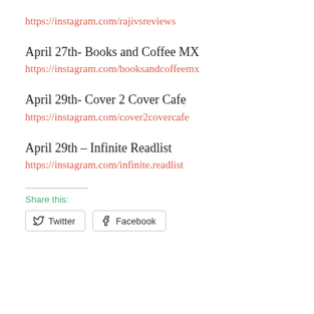https://instagram.com/rajivsreviews
April 27th- Books and Coffee MX
https://instagram.com/booksandcoffeemx
April 29th- Cover 2 Cover Cafe
https://instagram.com/cover2covercafe
April 29th – Infinite Readlist
https://instagram.com/infinite.readlist
Share this:
Twitter  Facebook